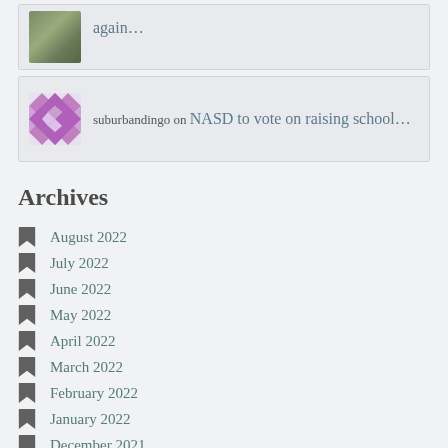again…
suburbandingo on NASD to vote on raising school…
Archives
August 2022
July 2022
June 2022
May 2022
April 2022
March 2022
February 2022
January 2022
December 2021
November 2021
October 2021